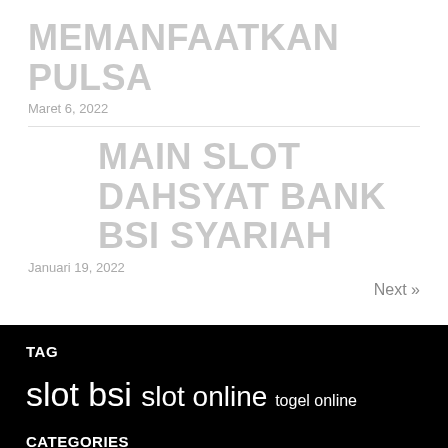MEMANFAATKAN PULSA
Maret 6, 2022
MAIN SLOT DAHSYAT BANK BSI SYARIAH
Januari 19, 2022
Next »
TAG
slot bsi slot online togel online
CATEGORIES